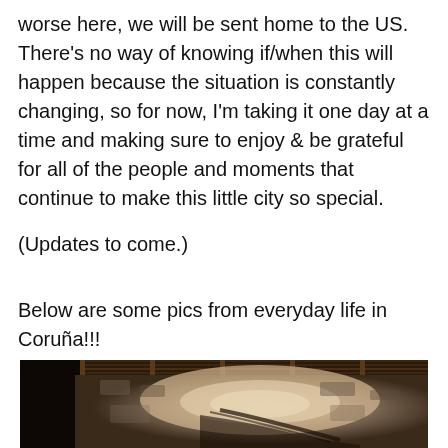worse here, we will be sent home to the US. There's no way of knowing if/when this will happen because the situation is constantly changing, so for now, I'm taking it one day at a time and making sure to enjoy & be grateful for all of the people and moments that continue to make this little city so special.
(Updates to come.)
Below are some pics from everyday life in Coruña!!!
[Figure (photo): Dark interior stone wall illuminated by a spotlight, with wooden beam ceiling visible above. Stone corridor or tunnel with rough textured walls.]